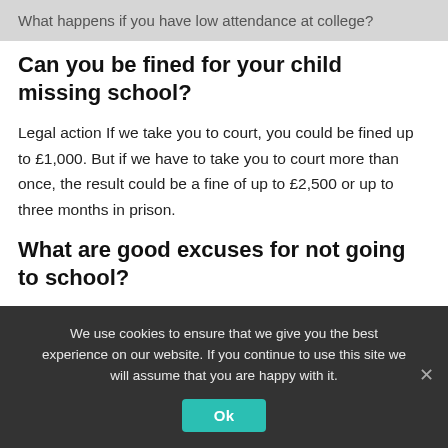What happens if you have low attendance at college?
Can you be fined for your child missing school?
Legal action If we take you to court, you could be fined up to £1,000. But if we have to take you to court more than once, the result could be a fine of up to £2,500 or up to three months in prison.
What are good excuses for not going to school?
We use cookies to ensure that we give you the best experience on our website. If you continue to use this site we will assume that you are happy with it.